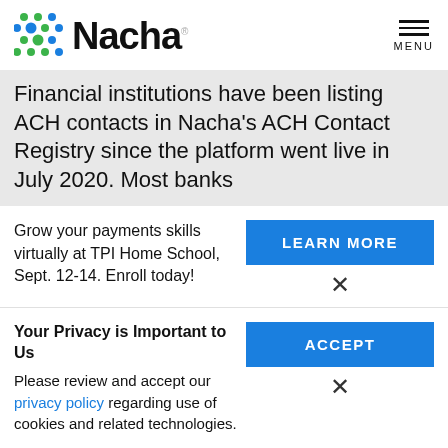Nacha
Financial institutions have been listing ACH contacts in Nacha's ACH Contact Registry since the platform went live in July 2020. Most banks
Grow your payments skills virtually at TPI Home School, Sept. 12-14. Enroll today!
LEARN MORE
Your Privacy is Important to Us
Please review and accept our privacy policy regarding use of cookies and related technologies.
ACCEPT